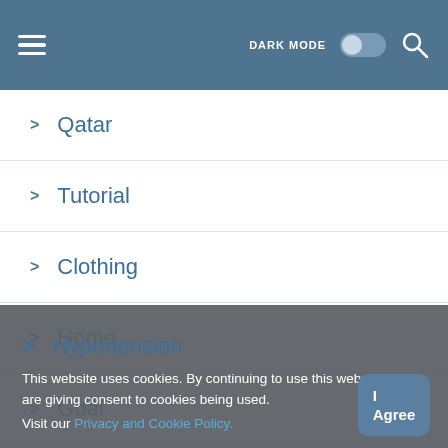DARK MODE [toggle] [search]
> Qatar
> Tutorial
> Clothing
> Home
> Goal
> Betting
> Hypertension
This website uses cookies. By continuing to use this website you are giving consent to cookies being used. Visit our Privacy and Cookie Policy.